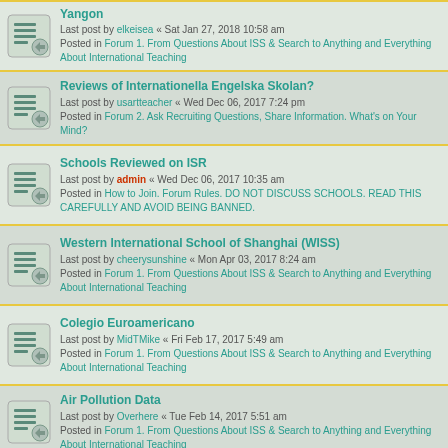Yangon
Last post by elkeisea « Sat Jan 27, 2018 10:58 am
Posted in Forum 1. From Questions About ISS & Search to Anything and Everything About International Teaching
Reviews of Internationella Engelska Skolan?
Last post by usartteacher « Wed Dec 06, 2017 7:24 pm
Posted in Forum 2. Ask Recruiting Questions, Share Information. What's on Your Mind?
Schools Reviewed on ISR
Last post by admin « Wed Dec 06, 2017 10:35 am
Posted in How to Join. Forum Rules. DO NOT DISCUSS SCHOOLS. READ THIS CAREFULLY AND AVOID BEING BANNED.
Western International School of Shanghai (WISS)
Last post by cheerysunshine « Mon Apr 03, 2017 8:24 am
Posted in Forum 1. From Questions About ISS & Search to Anything and Everything About International Teaching
Colegio Euroamericano
Last post by MidTMike « Fri Feb 17, 2017 5:49 am
Posted in Forum 1. From Questions About ISS & Search to Anything and Everything About International Teaching
Air Pollution Data
Last post by Overhere « Tue Feb 14, 2017 5:51 am
Posted in Forum 1. From Questions About ISS & Search to Anything and Everything About International Teaching
Teaching in KL
Last post by Thomas2711 « Wed Jan 18, 2017 5:31 am
Posted in Forum 2. Ask Recruiting Questions, Share Information. What's on Your Mind?